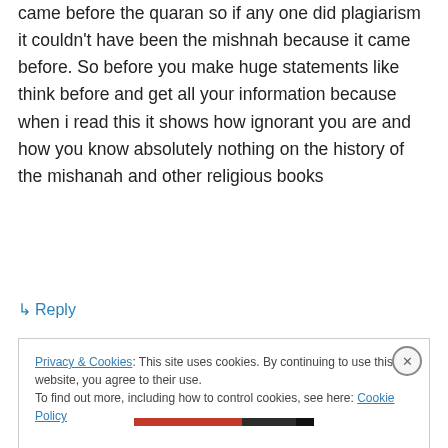came before the quaran so if any one did plagiarism it couldn't have been the mishnah because it came before. So before you make huge statements like think before and get all your information because when i read this it shows how ignorant you are and how you know absolutely nothing on the history of the mishanah and other religious books
↳ Reply
Privacy & Cookies: This site uses cookies. By continuing to use this website, you agree to their use. To find out more, including how to control cookies, see here: Cookie Policy
Close and accept